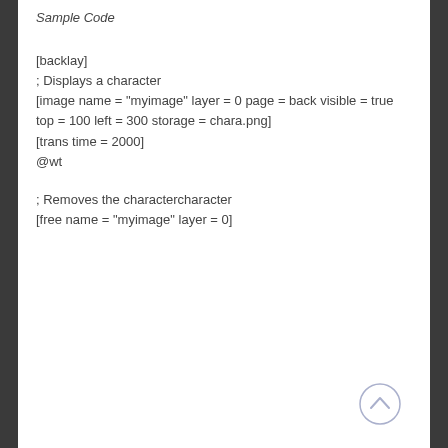Sample Code
[backlay]
; Displays a character
[image name = "myimage" layer = 0 page = back visible = true top = 100 left = 300 storage = chara.png]
[trans time = 2000]
@wt
; Removes the charactercharacter
[free name = "myimage" layer = 0]